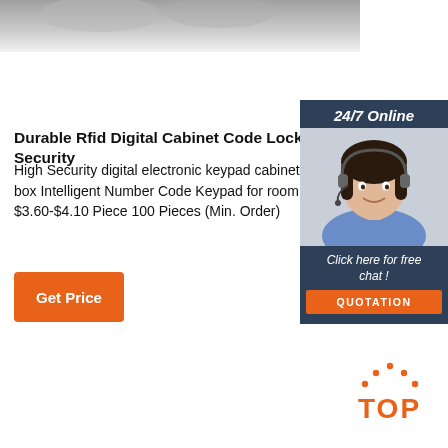[Figure (illustration): Top gray rounded strip showing partial view of product (cabinet lock), acting as decorative image header]
Durable Rfid Digital Cabinet Code Lock For Security
High Security digital electronic keypad cabinet locker box Intelligent Number Code Keypad for room safe $3.60-$4.10 Piece 100 Pieces (Min. Order)
[Figure (illustration): Get Price orange button]
[Figure (infographic): 24/7 Online sidebar panel with a woman wearing a headset, 'Click here for free chat!' text, and QUOTATION button]
[Figure (logo): TOP logo in orange with dots above the letters, bottom right corner]